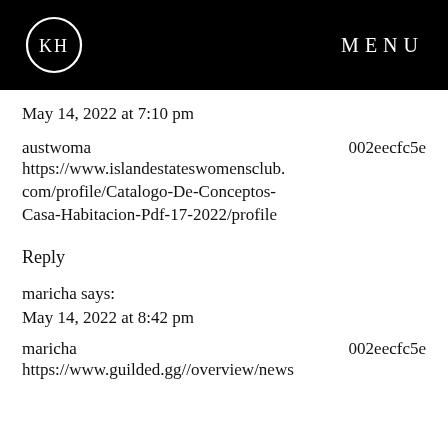[Figure (logo): KH logo — white circle with KH letters on black background header bar, with MENU text on the right]
May 14, 2022 at 7:10 pm
austwoma                    002eecfc5e
https://www.islandestateswomensclub.com/profile/Catalogo-De-Conceptos-Casa-Habitacion-Pdf-17-2022/profile
Reply
maricha says:
May 14, 2022 at 8:42 pm
maricha                    002eecfc5e
https://www.guilded.gg//overview/news/...